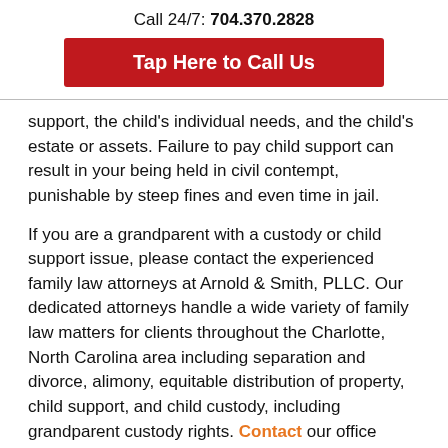Call 24/7: 704.370.2828
[Figure (other): Red button reading 'Tap Here to Call Us']
support, the child's individual needs, and the child's estate or assets. Failure to pay child support can result in your being held in civil contempt, punishable by steep fines and even time in jail.
If you are a grandparent with a custody or child support issue, please contact the experienced family law attorneys at Arnold & Smith, PLLC. Our dedicated attorneys handle a wide variety of family law matters for clients throughout the Charlotte, North Carolina area including separation and divorce, alimony, equitable distribution of property, child support, and child custody, including grandparent custody rights. Contact our office today for a consultation with one of our family law attorneys about your unique circumstances.